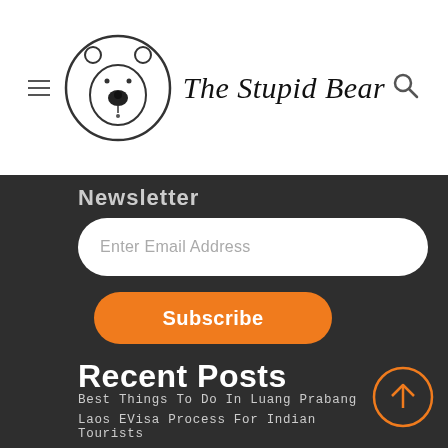[Figure (logo): The Stupid Bear website logo: circular bear face icon with site name in italic script]
Newsletter
Enter Email Address
Subscribe
Recent Posts
Best Things To Do In Luang Prabang
Laos EVisa Process For Indian Tourists
Laos Travel Itinerary From 5 Days To 4 Weeks